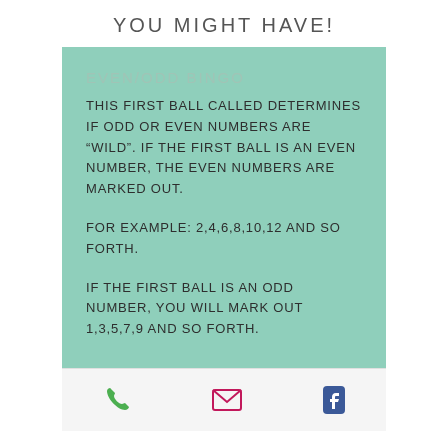YOU MIGHT HAVE!
EVEN/ODD BINGO
THIS FIRST BALL CALLED DETERMINES IF ODD OR EVEN NUMBERS ARE "WILD". IF THE FIRST BALL IS AN EVEN NUMBER, THE EVEN NUMBERS ARE MARKED OUT.
FOR EXAMPLE: 2,4,6,8,10,12 AND SO FORTH.
IF THE FIRST BALL IS AN ODD NUMBER, YOU WILL MARK OUT 1,3,5,7,9 AND SO FORTH.
[Figure (infographic): Footer bar with phone icon (green), email icon (pink/magenta), and Facebook icon (blue)]